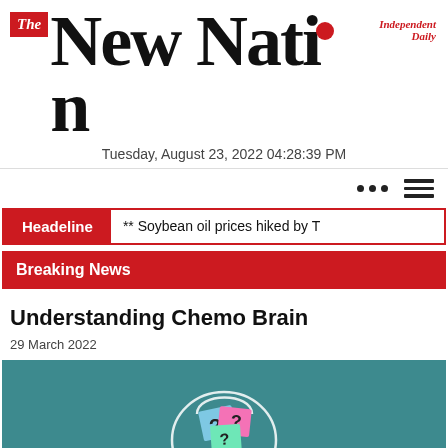The New Nation — Independent Daily
Tuesday, August 23, 2022 04:28:39 PM
Headline ** Soybean oil prices hiked by T
Breaking News
Understanding Chemo Brain
29 March 2022
[Figure (photo): Illustration of a brain silhouette with colorful sticky note question mark cards inside, on a teal background]